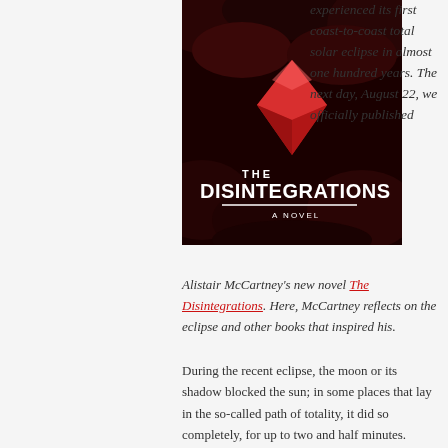[Figure (illustration): Book cover of 'The Disintegrations – A Novel' with dark red and black textured abstract imagery and white hand-lettered title text]
experienced its first coast-to-coast total solar eclipse in almost one hundred years. The next day, August 22, we officially published Alistair McCartney's new novel The Disintegrations. Here, McCartney reflects on the eclipse and other books that inspired his.
During the recent eclipse, the moon or its shadow blocked the sun; in some places that lay in the so-called path of totality, it did so completely, for up to two and half minutes.